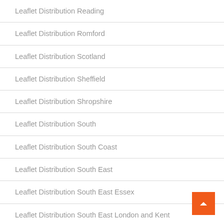Leaflet Distribution Reading
Leaflet Distribution Romford
Leaflet Distribution Scotland
Leaflet Distribution Sheffield
Leaflet Distribution Shropshire
Leaflet Distribution South
Leaflet Distribution South Coast
Leaflet Distribution South East
Leaflet Distribution South East Essex
Leaflet Distribution South East London and Kent
Leaflet Distribution South East Staffs